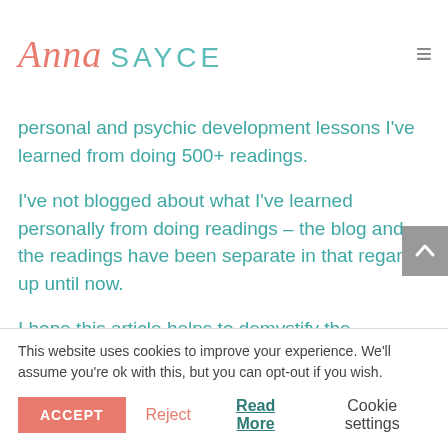Anna SAYCE
personal and psychic development lessons I've learned from doing 500+ readings.
I've not blogged about what I've learned personally from doing readings – the blog and the readings have been separate in that regard up until now.
I hope this article helps to demystify the
This website uses cookies to improve your experience. We'll assume you're ok with this, but you can opt-out if you wish.
ACCEPT   Reject   Read More   Cookie settings